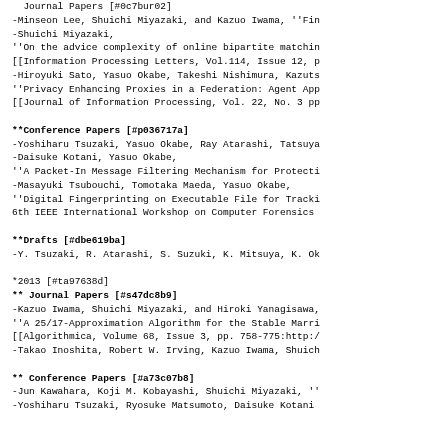Journal Papers [#0c7bur02]
-Minseon Lee, Shuichi Miyazaki, and Kazuo Iwama, ''Fin
-Shuichi Miyazaki,
''On the advice complexity of online bipartite matchin
[[Information Processing Letters, Vol.114, Issue 12, p
-Hiroyuki Sato, Yasuo Okabe, Takeshi Nishimura, Kazuts
''Privacy Enhancing Proxies in a Federation: Agent App
[[Journal of Information Processing, Vol. 22, No. 3 pp
**Conference Papers [#p036717a]
-Yoshiharu Tsuzaki, Yasuo Okabe, Ray Atarashi, Tatsuya
-Daisuke Kotani, Yasuo Okabe,
''A Packet-In Message Filtering Mechanism for Protecti
-Masayuki Tsubouchi, Tomotaka Maeda, Yasuo Okabe,
''Digital Fingerprinting on Executable File for Tracki
6th IEEE International Workshop on Computer Forensics
**Drafts [#dbe619ba]
-Y. Tsuzaki, R. Atarashi, S. Suzuki, K. Mitsuya, K. Ok
*2013 [#ta97638d]
** Journal Papers [#s47dc8b9]
-Kazuo Iwama, Shuichi Miyazaki, and Hiroki Yanagisawa,
''A 25/17-Approximation Algorithm for the Stable Marri
[[Algorithmica, Volume 68, Issue 3, pp. 758-775:http:/
-Takao Inoshita, Robert W. Irving, Kazuo Iwama, Shuich
** Conference Papers [#a73c07b8]
-Jun Kawahara, Koji M. Kobayashi, Shuichi Miyazaki, ''
-Yoshiharu Tsuzaki, Ryosuke Matsumoto, Daisuke Kotani